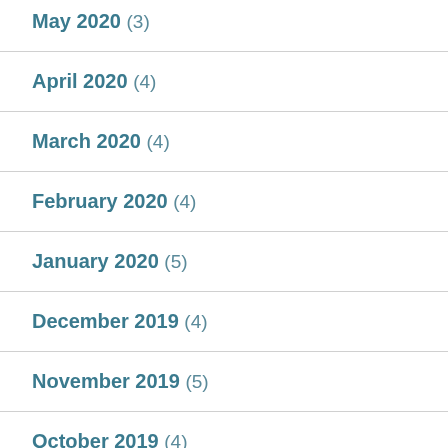May 2020 (3)
April 2020 (4)
March 2020 (4)
February 2020 (4)
January 2020 (5)
December 2019 (4)
November 2019 (5)
October 2019 (4)
September 2019 (4)